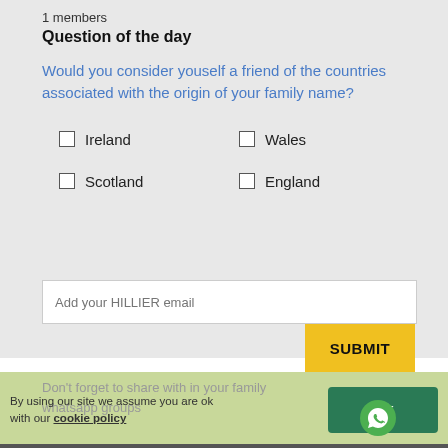1 members
Question of the day
Would you consider youself a friend of the countries associated with the origin of your family name?
Ireland
Wales
Scotland
England
Add your HILLIER email
SUBMIT
Don't forget to share with in your family whatsapp groups
By using our site we assume you are ok with our cookie policy
Ok